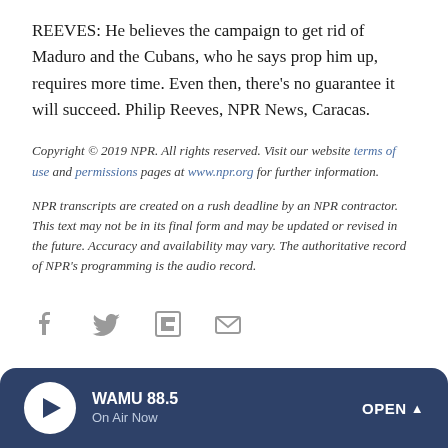REEVES: He believes the campaign to get rid of Maduro and the Cubans, who he says prop him up, requires more time. Even then, there's no guarantee it will succeed. Philip Reeves, NPR News, Caracas.
Copyright © 2019 NPR. All rights reserved. Visit our website terms of use and permissions pages at www.npr.org for further information.
NPR transcripts are created on a rush deadline by an NPR contractor. This text may not be in its final form and may be updated or revised in the future. Accuracy and availability may vary. The authoritative record of NPR's programming is the audio record.
[Figure (other): Social media share icons: Facebook, Twitter, Flipboard, Email]
[Figure (other): Audio player bar: WAMU 88.5 On Air Now, play button, OPEN chevron]